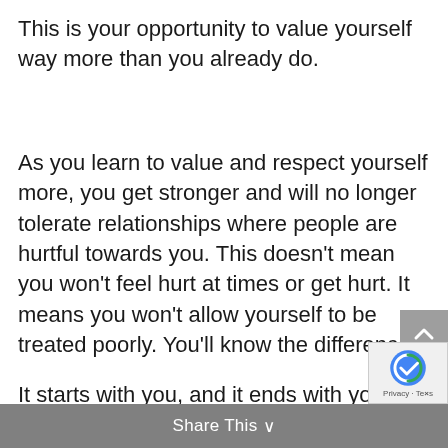This is your opportunity to value yourself way more than you already do.
As you learn to value and respect yourself more, you get stronger and will no longer tolerate relationships where people are hurtful towards you. This doesn't mean you won't feel hurt at times or get hurt. It means you won't allow yourself to be treated poorly. You'll know the difference.
It starts with you, and it ends with you. That is personal responsibility!
Share This ∨